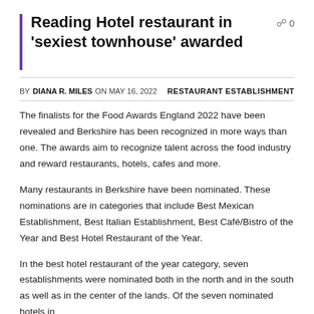Reading Hotel restaurant in 'sexiest townhouse' awarded
BY DIANA R. MILES ON MAY 16, 2022    RESTAURANT ESTABLISHMENT
The finalists for the Food Awards England 2022 have been revealed and Berkshire has been recognized in more ways than one. The awards aim to recognize talent across the food industry and reward restaurants, hotels, cafes and more.
Many restaurants in Berkshire have been nominated. These nominations are in categories that include Best Mexican Establishment, Best Italian Establishment, Best Café/Bistro of the Year and Best Hotel Restaurant of the Year.
In the best hotel restaurant of the year category, seven establishments were nominated both in the north and in the south as well as in the center of the lands. Of the seven nominated hotels in